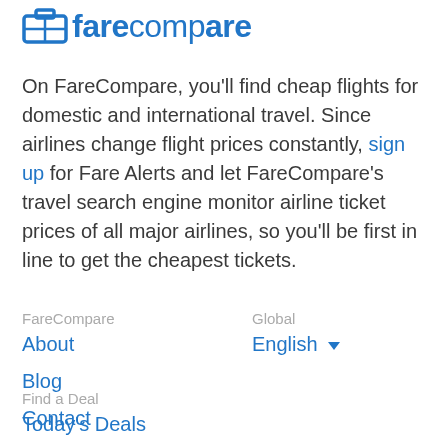[Figure (logo): FareCompare logo with blue suitcase/ticket icon and blue text reading 'farecompare']
On FareCompare, you'll find cheap flights for domestic and international travel. Since airlines change flight prices constantly, sign up for Fare Alerts and let FareCompare's travel search engine monitor airline ticket prices of all major airlines, so you'll be first in line to get the cheapest tickets.
FareCompare
About
Blog
Contact
Global
English ▾
Find a Deal
Today's Deals
Deals from your City